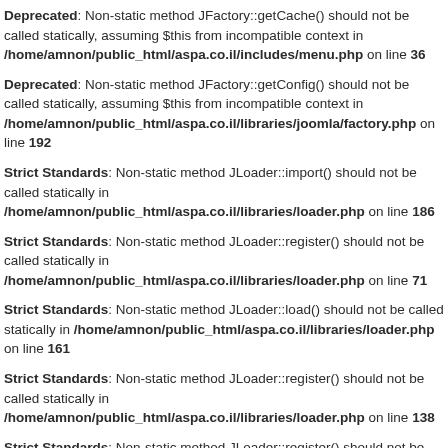Deprecated: Non-static method JFactory::getCache() should not be called statically, assuming $this from incompatible context in /home/amnon/public_html/aspa.co.il/includes/menu.php on line 36
Deprecated: Non-static method JFactory::getConfig() should not be called statically, assuming $this from incompatible context in /home/amnon/public_html/aspa.co.il/libraries/joomla/factory.php on line 192
Strict Standards: Non-static method JLoader::import() should not be called statically in /home/amnon/public_html/aspa.co.il/libraries/loader.php on line 186
Strict Standards: Non-static method JLoader::register() should not be called statically in /home/amnon/public_html/aspa.co.il/libraries/loader.php on line 71
Strict Standards: Non-static method JLoader::load() should not be called statically in /home/amnon/public_html/aspa.co.il/libraries/loader.php on line 161
Strict Standards: Non-static method JLoader::register() should not be called statically in /home/amnon/public_html/aspa.co.il/libraries/loader.php on line 138
Strict Standards: Non-static method JLoader::register() should not be called statically in /home/amnon/public_html/aspa.co.il/libraries/joomla/cache/cache.php on line 19